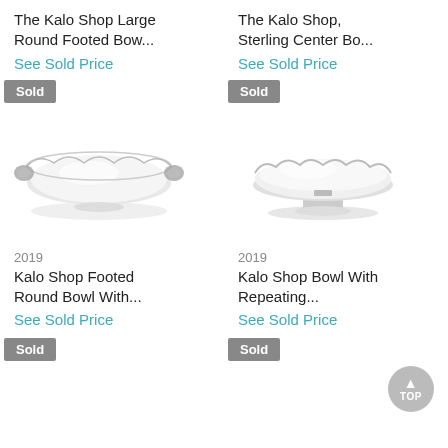The Kalo Shop Large Round Footed Bow...
See Sold Price
The Kalo Shop, Sterling Center Bo...
See Sold Price
[Figure (photo): Silver footed bowl with handles, Kalo Shop]
[Figure (photo): Silver footed round bowl, Kalo Shop]
2019
Kalo Shop Footed Round Bowl With...
See Sold Price
2019
Kalo Shop Bowl With Repeating...
See Sold Price
[Figure (photo): Sold badge and partial image bottom left]
[Figure (photo): Sold badge and partial image bottom right]